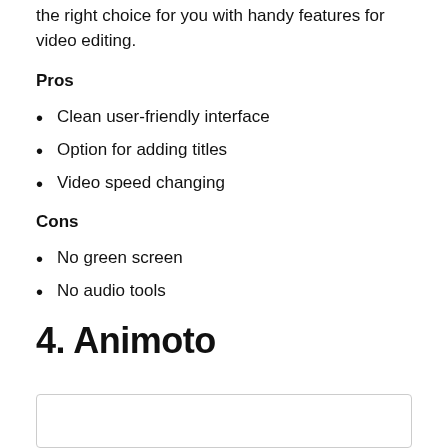the right choice for you with handy features for video editing.
Pros
Clean user-friendly interface
Option for adding titles
Video speed changing
Cons
No green screen
No audio tools
4. Animoto
[Figure (other): Image placeholder box]